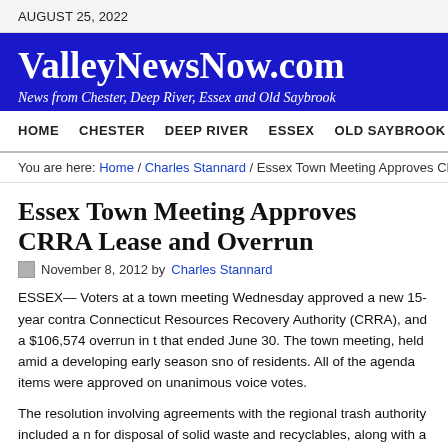AUGUST 25, 2022
ValleyNewsNow.com
News from Chester, Deep River, Essex and Old Saybrook
HOME  CHESTER  DEEP RIVER  ESSEX  OLD SAYBROOK  LETT
You are here: Home / Charles Stannard / Essex Town Meeting Approves CRRA Lease and
Essex Town Meeting Approves CRRA Lease and Overrun
November 8, 2012 by Charles Stannard
ESSEX— Voters at a town meeting Wednesday approved a new 15-year contract with the Connecticut Resources Recovery Authority (CRRA), and a $106,574 overrun in the budget that ended June 30. The town meeting, held amid a developing early season sno of residents. All of the agenda items were approved on unanimous voice votes.
The resolution involving agreements with the regional trash authority included a new agreement for disposal of solid waste and recyclables, along with a new and updated agreer